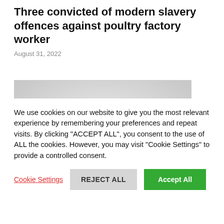Three convicted of modern slavery offences against poultry factory worker
August 31, 2022
[Figure (photo): Photograph showing two decorative poultry/seashell shaped items against a grey/white background — one red/orange and one tan/brown, with spiky or ridged edges.]
We use cookies on our website to give you the most relevant experience by remembering your preferences and repeat visits. By clicking "ACCEPT ALL", you consent to the use of ALL the cookies. However, you may visit "Cookie Settings" to provide a controlled consent.
Cookie Settings | REJECT ALL | Accept All